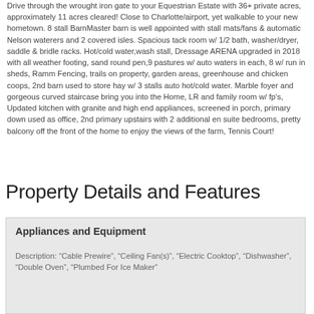Drive through the wrought iron gate to your Equestrian Estate with 36+ private acres, approximately 11 acres cleared! Close to Charlotte/airport, yet walkable to your new hometown. 8 stall BarnMaster barn is well appointed with stall mats/fans & automatic Nelson waterers and 2 covered isles. Spacious tack room w/ 1/2 bath, washer/dryer, saddle & bridle racks. Hot/cold water,wash stall, Dressage ARENA upgraded in 2018 with all weather footing, sand round pen,9 pastures w/ auto waters in each, 8 w/ run in sheds, Ramm Fencing, trails on property, garden areas, greenhouse and chicken coops, 2nd barn used to store hay w/ 3 stalls auto hot/cold water. Marble foyer and gorgeous curved staircase bring you into the Home, LR and family room w/ fp's, Updated kitchen with granite and high end appliances, screened in porch, primary down used as office, 2nd primary upstairs with 2 additional en suite bedrooms, pretty balcony off the front of the home to enjoy the views of the farm, Tennis Court!
Property Details and Features
Appliances and Equipment
Description: “Cable Prewire”, “Ceiling Fan(s)”, “Electric Cooktop”, “Dishwasher”, “Double Oven”, “Plumbed For Ice Maker”